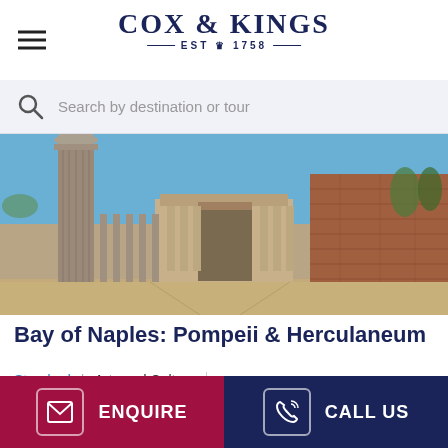COX & KINGS — EST 1758 —
Search by destination or tour
[Figure (photo): Ancient Roman ruins at Pompeii showing tall stone columns and colonnaded basilica ruins under a clear blue sky]
Bay of Naples: Pompeii & Herculaneum
Standard | Arts and Culture
7 Days & 6 Nights
ENQUIRE
CALL US